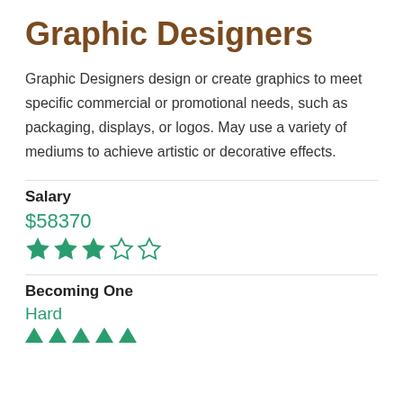Graphic Designers
Graphic Designers design or create graphics to meet specific commercial or promotional needs, such as packaging, displays, or logos. May use a variety of mediums to achieve artistic or decorative effects.
Salary
$58370
[Figure (other): 3 out of 5 filled stars rating for salary]
Becoming One
Hard
[Figure (other): 5 triangle/arrow up icons indicating difficulty rating]